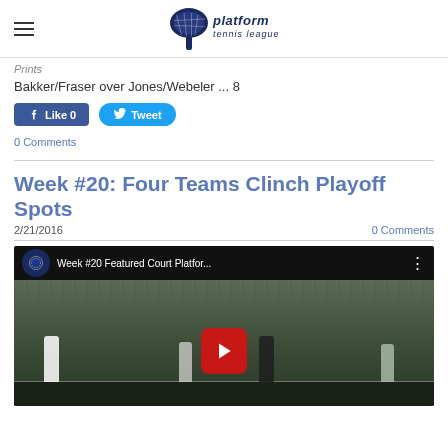Platform Tennis League
Bakker/Fraser over Jones/Webeler ... 8
[Figure (other): Facebook Like button (count: 0) and Twitter Tweet button]
0 Comments
Week #20: Four Teams Clinch Playoff Spots
2/21/2016
0 Comments
[Figure (screenshot): YouTube video thumbnail for 'Week #20 Featured Court Platfor...' showing players on a platform tennis court with a red play button overlay]